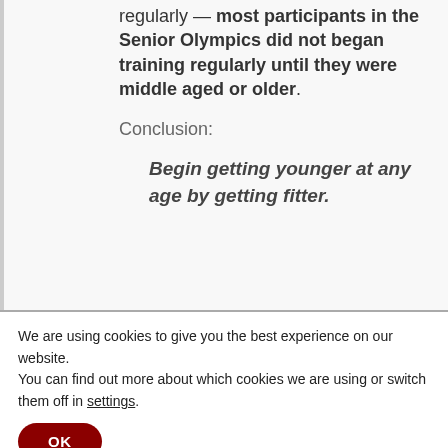regularly — most participants in the Senior Olympics did not began training regularly until they were middle aged or older.
Conclusion:
Begin getting younger at any age by getting fitter.
We are using cookies to give you the best experience on our website.
You can find out more about which cookies we are using or switch them off in settings.